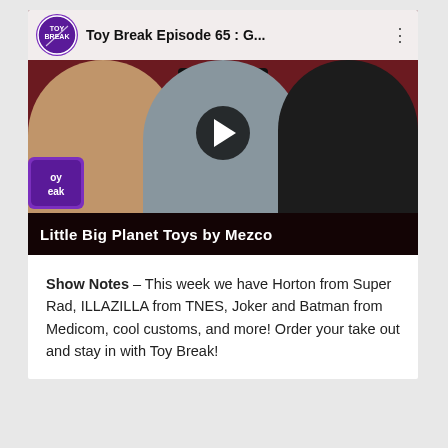[Figure (screenshot): YouTube video thumbnail for 'Toy Break Episode 65 : G...' showing three people seated behind a table, a TV on the wall behind them with 'Toy Break' logo, a play button overlay, and a bottom caption bar reading 'Little Big Planet Toys by Mezco'. The Toy Break channel logo appears in the top-left of the video player.]
Show Notes – This week we have Horton from Super Rad, ILLAZILLA from TNES, Joker and Batman from Medicom, cool customs, and more! Order your take out and stay in with Toy Break!